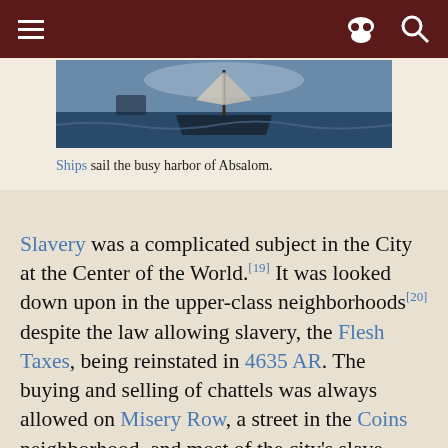≡  [incognito icon] [search icon]
[Figure (photo): Ships sailing the busy harbor of Absalom — a dark painted illustration of ships at sea]
Ships sail the busy harbor of Absalom.
Slavery was a complicated subject in the City at the Center of the World.[19] It was looked down upon in the upper-class neighborhoods[20] despite the law allowing slavery, the Flesh Taxes, being reinstated in 4635 AR. The buying and selling of chattels was always allowed on Misery Row, a street in the Coins neighborhood, and most of the city's slave trade took place there.[21] Slaves were rarely taken in Absalom itself, but were brought in from outside the Isle of Kortos: